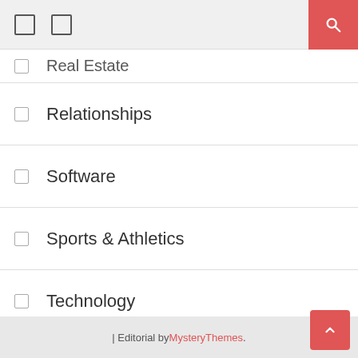Real Estate
Relationships
Software
Sports & Athletics
Technology
Travel
Web Design
Web Resources
| Editorial by MysteryThemes.